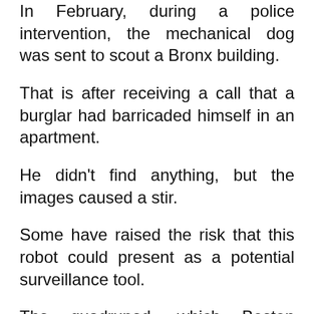In February, during a police intervention, the mechanical dog was sent to scout a Bronx building.
That is after receiving a call that a burglar had barricaded himself in an apartment.
He didn't find anything, but the images caused a stir.
Some have raised the risk that this robot could present as a potential surveillance tool.
The quadruped, which Boston Dynamics is offering for $74,500, was seen again in mid-April in Manhattan during hostage situation, where it was not used.